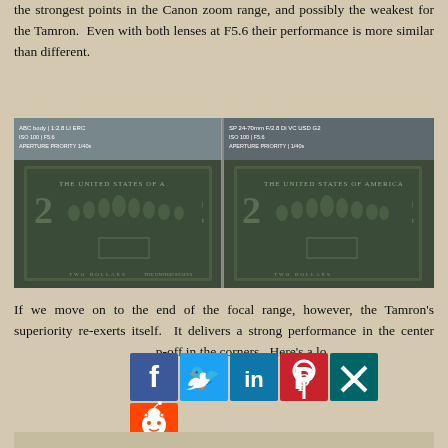the strongest points in the Canon zoom range, and possibly the weakest for the Tamron. Even with both lenses at F5.6 their performance is more similar than different.
[Figure (photo): Two side-by-side photos of the back of a US $2 bill showing the Declaration of Independence scene, taken with different lenses (Canon vs Tamron). Each photo has camera metadata overlay text in the upper-left corner.]
If we move on to the end of the focal range, however, the Tamron's superiority re-exerts itself. It delivers a strong performance in the center p-off in the corners. Here's a lo
[Figure (infographic): Social media share buttons: Facebook (blue), Twitter (light blue), LinkedIn (dark blue), Pinterest (red), Xing (teal), Reddit (orange-red)]